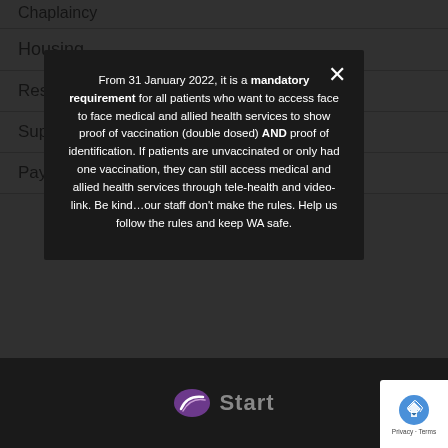Chaplaincy
Housing
Residential Rehabilitation and Recovery
Support G…
Pay…
From 31 January 2022, it is a mandatory requirement for all patients who want to access face to face medical and allied health services to show proof of vaccination (double dosed) AND proof of identification. If patients are unvaccinated or only had one vaccination, they can still access medical and allied health services through tele-health and video-link. Be kind…our staff don't make the rules. Help us follow the rules and keep WA safe.
[Figure (logo): Start logo with purple swoosh icon and 'Start' text in grey]
[Figure (logo): reCAPTCHA badge with Privacy and Terms link]